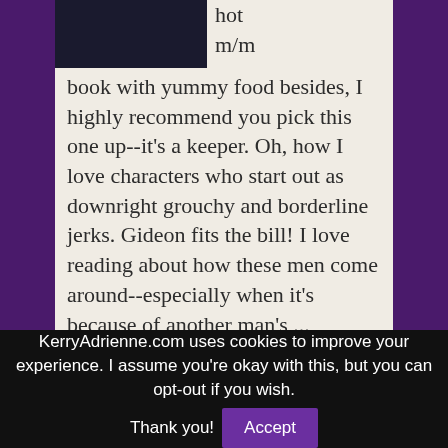[Figure (photo): Book cover image on dark background, partially visible at top]
hot m/m book with yummy food besides, I highly recommend you pick this one up--it's a keeper. Oh, how I love characters who start out as downright grouchy and borderline jerks. Gideon fits the bill! I love reading about how these men come around--especially when it's because of another man's ...
Continue Reading »
KerryAdrienne.com uses cookies to improve your experience. I assume you're okay with this, but you can opt-out if you wish. Thank you!